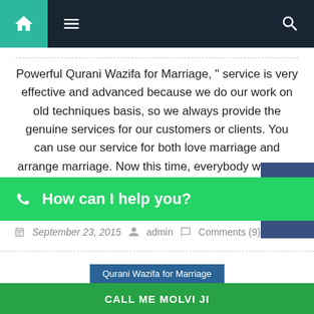Navigation bar with home, menu, and search icons
Powerful Qurani Wazifa for Marriage, “ service is very effective and advanced because we do our work on old techniques basis, so we always provide the genuine services for our customers or clients. You can use our service for both love marriage and arrange marriage. Now this time, everybody wants to do love marriage and arrange [
How can I help you?
September 23, 2015   admin   Comments (9)
Qurani Wazifa for Marriage
Powerful Qurani Wazifa for Marriage
CALL ME MOLVI JI